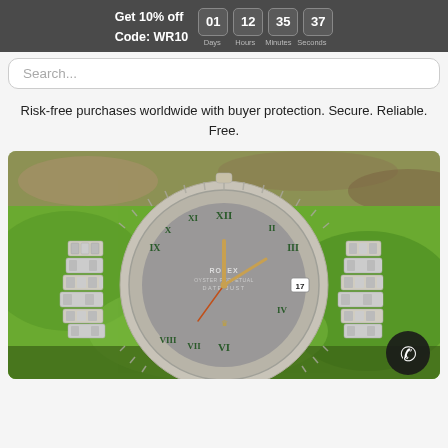Get 10% off  Code: WR10  01 Days  12 Hours  35 Minutes  37 Seconds
Search...
Risk-free purchases worldwide with buyer protection. Secure. Reliable. Free.
[Figure (photo): Close-up photograph of a Rolex Oyster Perpetual Datejust watch with a slate/rhodium dial with green Roman numerals, fluted bezel, and jubilee bracelet, set against a green grass background outdoors.]